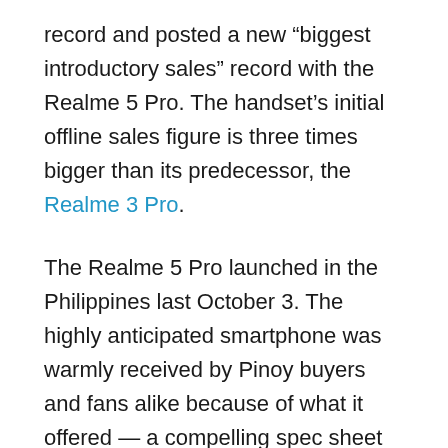record and posted a new “biggest introductory sales” record with the Realme 5 Pro. The handset’s initial offline sales figure is three times bigger than its predecessor, the Realme 3 Pro.
The Realme 5 Pro launched in the Philippines last October 3. The highly anticipated smartphone was warmly received by Pinoy buyers and fans alike because of what it offered — a compelling spec sheet with a friendly price tag.